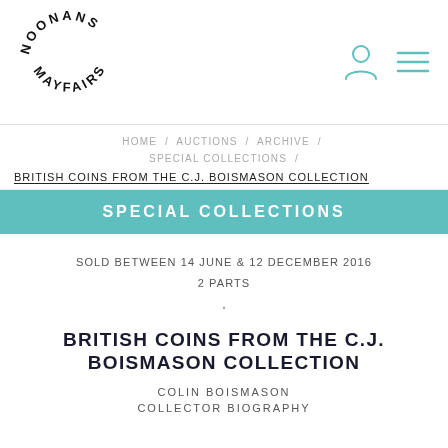[Figure (logo): Noonans Mayfair circular text logo in black]
HOME / AUCTIONS / ARCHIVE / SPECIAL COLLECTIONS /
BRITISH COINS FROM THE C.J. BOISMASON COLLECTION
SPECIAL COLLECTIONS
SOLD BETWEEN 14 JUNE & 12 DECEMBER 2016
2 PARTS
BRITISH COINS FROM THE C.J. BOISMASON COLLECTION
COLIN BOISMASON
COLLECTOR BIOGRAPHY